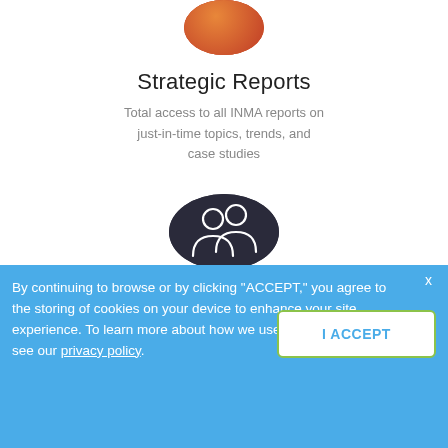[Figure (photo): Circular cropped photo of a person, warm orange/red tones, partially visible at top]
Strategic Reports
Total access to all INMA reports on just-in-time topics, trends, and case studies
[Figure (illustration): Circular dark photo with white outline icon of two people/members]
Member Directory
Find out in media connections at the member companies
By continuing to browse or by clicking “ACCEPT,” you agree to the storing of cookies on your device to enhance your site experience. To learn more about how we use cookies, please see our privacy policy.
I ACCEPT
x